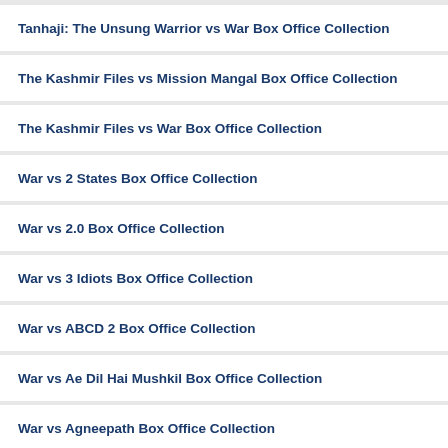Tanhaji: The Unsung Warrior vs War Box Office Collection
The Kashmir Files vs Mission Mangal Box Office Collection
The Kashmir Files vs War Box Office Collection
War vs 2 States Box Office Collection
War vs 2.0 Box Office Collection
War vs 3 Idiots Box Office Collection
War vs ABCD 2 Box Office Collection
War vs Ae Dil Hai Mushkil Box Office Collection
War vs Agneepath Box Office Collection
War vs Airlift Box Office Collection